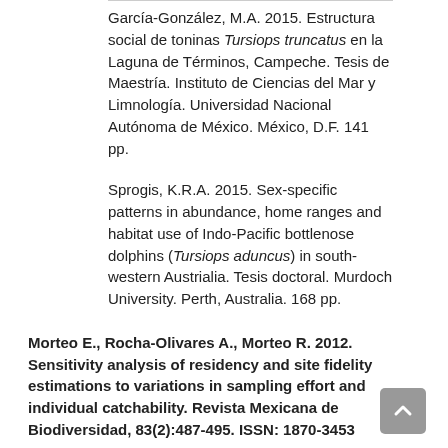García-González, M.A. 2015. Estructura social de toninas Tursiops truncatus en la Laguna de Términos, Campeche. Tesis de Maestría. Instituto de Ciencias del Mar y Limnología. Universidad Nacional Autónoma de México. México, D.F. 141 pp.
Sprogis, K.R.A. 2015. Sex-specific patterns in abundance, home ranges and habitat use of Indo-Pacific bottlenose dolphins (Tursiops aduncus) in south-western Austrialia. Tesis doctoral. Murdoch University. Perth, Australia. 168 pp.
Morteo E., Rocha-Olivares A., Morteo R. 2012. Sensitivity analysis of residency and site fidelity estimations to variations in sampling effort and individual catchability. Revista Mexicana de Biodiversidad, 83(2):487-495. ISSN: 1870-3453
Citado en: